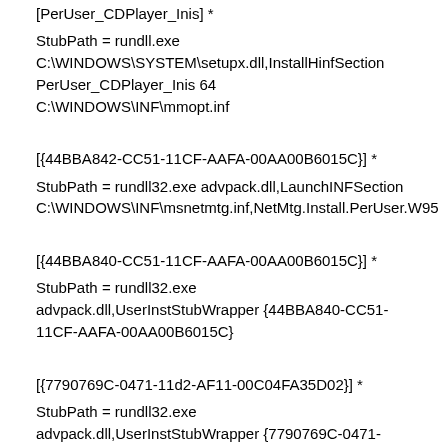[PerUser_CDPlayer_Inis] *
StubPath = rundll.exe C:\WINDOWS\SYSTEM\setupx.dll,InstallHinfSection PerUser_CDPlayer_Inis 64 C:\WINDOWS\INF\mmopt.inf
[{44BBA842-CC51-11CF-AAFA-00AA00B6015C}] *
StubPath = rundll32.exe advpack.dll,LaunchINFSection C:\WINDOWS\INF\msnetmtg.inf,NetMtg.Install.PerUser.W95
[{44BBA840-CC51-11CF-AAFA-00AA00B6015C}] *
StubPath = rundll32.exe advpack.dll,UserInstStubWrapper {44BBA840-CC51-11CF-AAFA-00AA00B6015C}
[{7790769C-0471-11d2-AF11-00C04FA35D02}] *
StubPath = rundll32.exe advpack.dll,UserInstStubWrapper {7790769C-0471-11d2-AF11-00C04FA35D02}